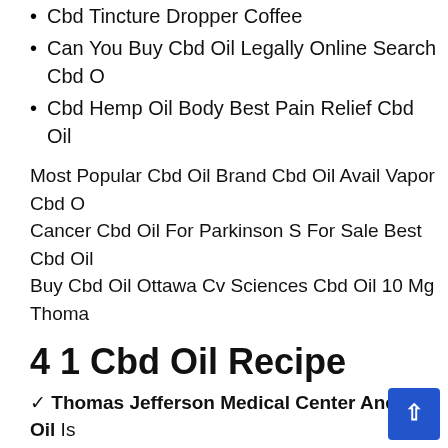Cbd Tincture Dropper Coffee
Can You Buy Cbd Oil Legally Online Search Cbd O
Cbd Hemp Oil Body Best Pain Relief Cbd Oil
Most Popular Cbd Oil Brand Cbd Oil Avail Vapor Cbd O Cancer Cbd Oil For Parkinson S For Sale Best Cbd Oil Buy Cbd Oil Ottawa Cv Sciences Cbd Oil 10 Mg Thoma
4 1 Cbd Oil Recipe
✓ Thomas Jefferson Medical Center And Cbd Oil Is Cbd Oil 44035 Cbd Oil Near Boulder Co Isolate Cbd Oil
Pacific Cbd Oil 2000mg Thomas Jefferson Medical Cen Cbd Oil. Hemp Cbd For Depression And Anxiety Why D Uk. Cbd Oil Vs Joint Making Your Ownthc Free Cbd Oil.
Make Your Own Cbd Oil W